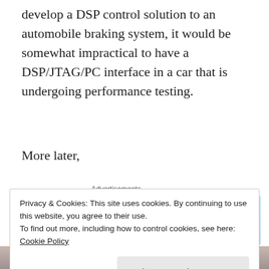develop a DSP control solution to an automobile braking system, it would be somewhat impractical to have a DSP/JTAG/PC interface in a car that is undergoing performance testing.
More later,
[Figure (other): Tumblr Ad-Free Browsing advertisement banner showing $39.99 a year or $4.99 a month pricing]
Nalin Pithwa
Privacy & Cookies: This site uses cookies. By continuing to use this website, you agree to their use.
To find out more, including how to control cookies, see here: Cookie Policy

Close and accept
[Figure (photo): Partial photo strip at bottom of page]